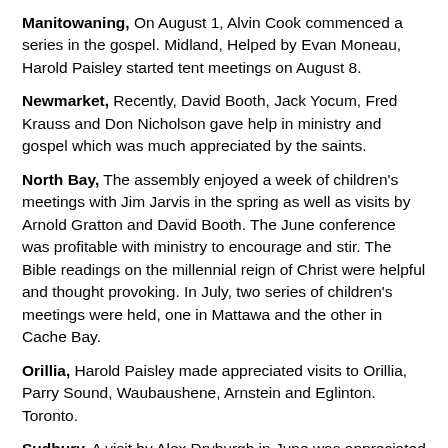Manitowaning, On August 1, Alvin Cook commenced a series in the gospel. Midland, Helped by Evan Moneau, Harold Paisley started tent meetings on August 8.
Newmarket, Recently, David Booth, Jack Yocum, Fred Krauss and Don Nicholson gave help in ministry and gospel which was much appreciated by the saints.
North Bay, The assembly enjoyed a week of children's meetings with Jim Jarvis in the spring as well as visits by Arnold Gratton and David Booth. The June conference was profitable with ministry to encourage and stir. The Bible readings on the millennial reign of Christ were helpful and thought provoking. In July, two series of children's meetings were held, one in Mattawa and the other in Cache Bay.
Orillia, Harold Paisley made appreciated visits to Orillia, Parry Sound, Waubaushene, Arnstein and Eglinton. Toronto.
Sudbury, A visit by Alex Dryburgh in June was appreciated by the saints. In June and July, Brian Owen and Larry Buote had three and a half weeks of well attended gospel meetings.
Thunder Bay, The assembly enjoyed having Timothy Kember for two consecutive Lord's days and a midweek